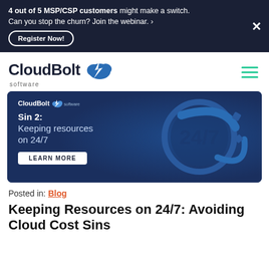4 out of 5 MSP/CSP customers might make a switch. Can you stop the churn? Join the webinar. › Register Now!
[Figure (logo): CloudBolt Software logo with cloud and lightning bolt icon]
[Figure (illustration): CloudBolt Software promotional banner: Sin 2: Keeping resources on 24/7. LEARN MORE button. Dark blue background with 24/7 clock graphic.]
Posted in: Blog
Keeping Resources on 24/7: Avoiding Cloud Cost Sins